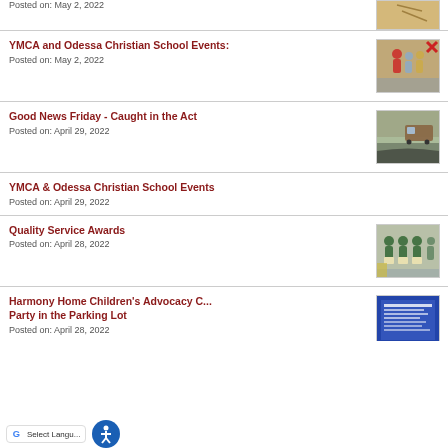YMCA and Odessa Christian School Events:
Posted on: May 2, 2022
Good News Friday - Caught in the Act
Posted on: April 29, 2022
YMCA & Odessa Christian School Events
Posted on: April 29, 2022
Quality Service Awards
Posted on: April 28, 2022
Harmony Home Children's Advocacy C... Party in the Parking Lot
Posted on: April 28, 2022